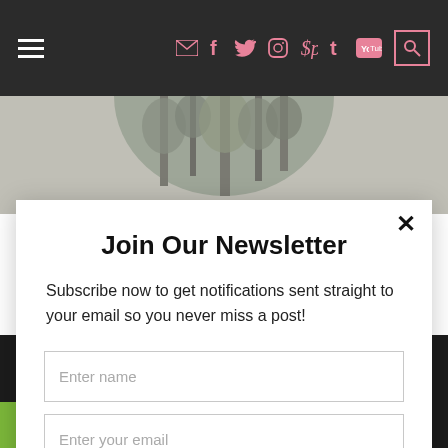Navigation bar with hamburger menu and social icons: email, facebook, twitter, instagram, pinterest, tumblr, youtube, search
[Figure (photo): Circular cropped photo of trees/forest in greyscale]
Join Our Newsletter
Subscribe now to get notifications sent straight to your email so you never miss a post!
Enter name
Enter your email
This blog uses cookies to ensure you get the most blog experience! Click on "Learn more" to view our Privacy Policy.
ACCEPT
LEARN MORE